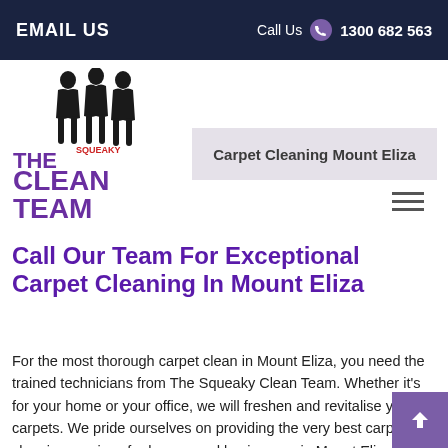EMAIL US  Call Us  1300 682 563
[Figure (logo): The Squeaky Clean Team logo with silhouettes of three people and bold purple text reading THE CLEAN TEAM with SQUEAKY in red]
Carpet Cleaning Mount Eliza
Call Our Team For Exceptional Carpet Cleaning In Mount Eliza
For the most thorough carpet clean in Mount Eliza, you need the trained technicians from The Squeaky Clean Team. Whether it's for your home or your office, we will freshen and revitalise your carpets. We pride ourselves on providing the very best carpet cleaning services for homes and businesses in Mount Eliza and the surrounding suburbs of Mornington